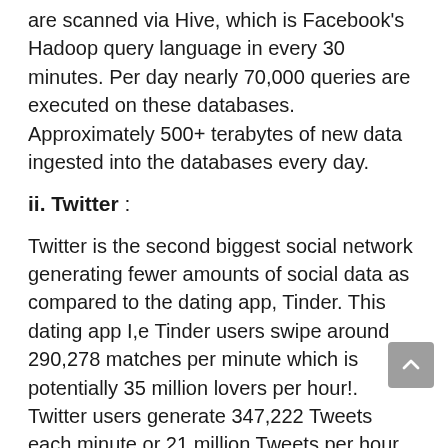are scanned via Hive, which is Facebook's Hadoop query language in every 30 minutes. Per day nearly 70,000 queries are executed on these databases. Approximately 500+ terabytes of new data ingested into the databases every day.
ii. Twitter :
Twitter is the second biggest social network generating fewer amounts of social data as compared to the dating app, Tinder. This dating app I,e Tinder users swipe around 290,278 matches per minute which is potentially 35 million lovers per hour!. Twitter users generate 347,222 Tweets each minute or 21 million Tweets per hour on the